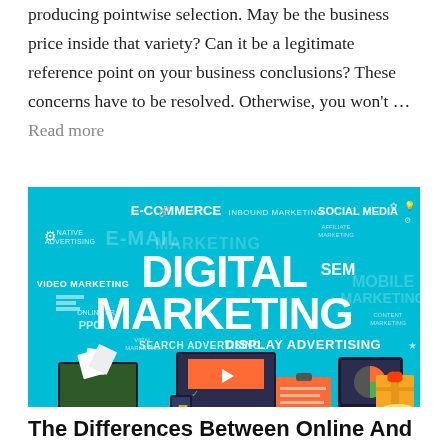producing pointwise selection. May be the business price inside that variety? Can it be a legitimate reference point on your business conclusions? These concerns have to be resolved. Otherwise, you won't … Read more
[Figure (illustration): Digital marketing word cloud illustration over a teal/cyan background, featuring large bold white text 'DIGITAL MARKETING' with surrounding terms like E-Commerce, Inbound Marketing, Social Media, Native Advertising, Email Marketing, Video Marketing, SEM, Mobile Marketing, Display Advertising, Search Advertising, PPC, Online PR, and more. Below the word cloud is a flat-design desk scene with a laptop, computer monitor, tablet, smartphone, and office supplies.]
The Differences Between Online And